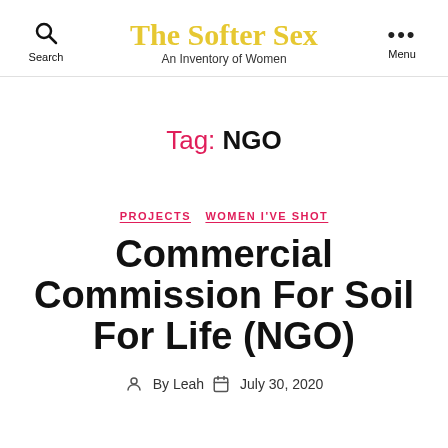Search | The Softer Sex – An Inventory of Women | Menu
Tag: NGO
PROJECTS  WOMEN I'VE SHOT
Commercial Commission For Soil For Life (NGO)
By Leah  July 30, 2020